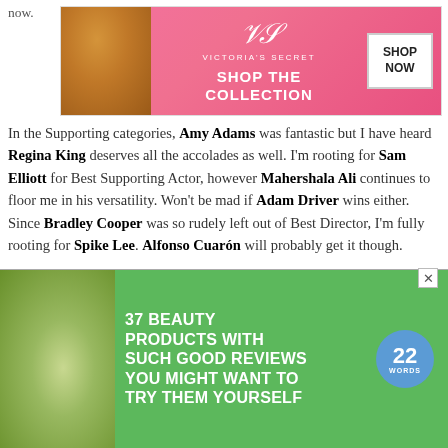now.
[Figure (advertisement): Victoria's Secret advertisement banner with model and 'SHOP THE COLLECTION / SHOP NOW' call to action]
In the Supporting categories, Amy Adams was fantastic but I have heard Regina King deserves all the accolades as well. I'm rooting for Sam Elliott for Best Supporting Actor, however Mahershala Ali continues to floor me in his versatility. Won't be mad if Adam Driver wins either. Since Bradley Cooper was so rudely left out of Best Director, I'm fully rooting for Spike Lee. Alfonso Cuarón will probably get it though.
THE NOMINEES
You can get a decent list to print out here on the Oscars official website. I usually like Vanity Fair's interactive ballot, as well as their printable one. If you are having a party, there a spot to reference "Quiet" nominees
[Figure (advertisement): Green advertisement banner: '37 BEAUTY PRODUCTS WITH SUCH GOOD REVIEWS YOU MIGHT WANT TO TRY THEM YOURSELF' with 22 Words badge and close button]